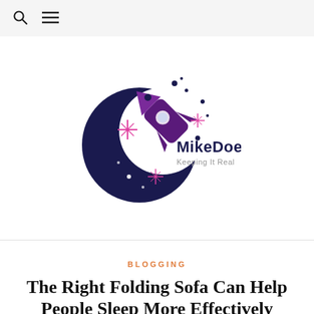🔍 ≡
[Figure (logo): MikeDoe blog logo featuring a dark navy crescent moon/planet shape with a purple space shuttle launching from it, pink/magenta sparkle stars, and text 'MikeDoe Keeping It Real' in dark navy and grey.]
BLOGGING
The Right Folding Sofa Can Help People Sleep More Effectively